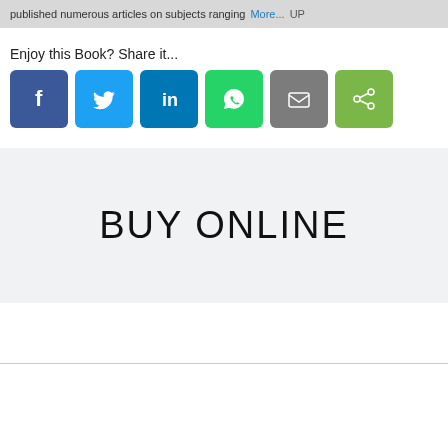published numerous articles on subjects ranging More... UP
Enjoy this Book? Share it...
[Figure (other): Row of six social share buttons: Facebook (blue), Twitter (light blue), LinkedIn (dark blue), WhatsApp (green), Email (grey), Share (lime green)]
BUY ONLINE